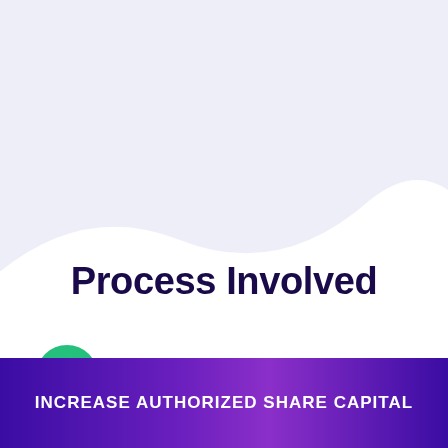[Figure (illustration): Light lavender/purple wave background at top of page, transitioning to white in lower portion with a curved wave shape]
Process Involved
[Figure (infographic): WhatsApp green circular button with white phone/chat icon, next to a mint-green rounded pill button labeled 'Questions? Let's Chat']
INCREASE AUTHORIZED SHARE CAPITAL